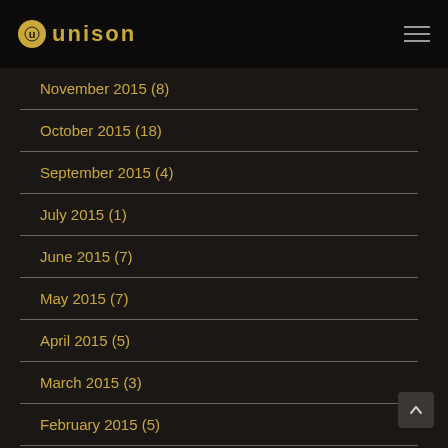UNISON
November 2015 (8)
October 2015 (18)
September 2015 (4)
July 2015 (1)
June 2015 (7)
May 2015 (7)
April 2015 (5)
March 2015 (3)
February 2015 (5)
January 2015 (18)
December 2014 (6)